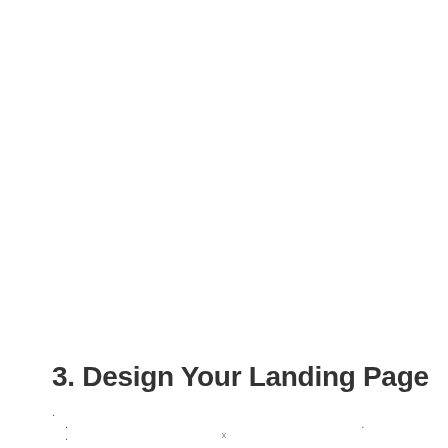3. Design Your Landing Page
. .                    .      .             .      .          .       . .
x